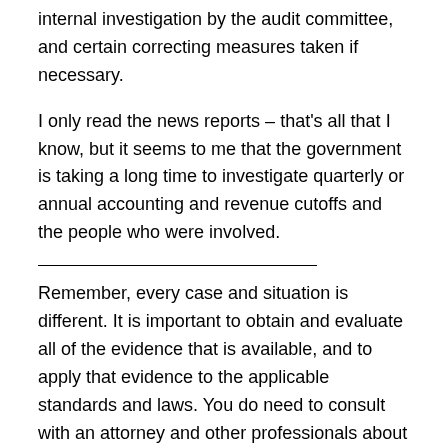internal investigation by the audit committee, and certain correcting measures taken if necessary.
I only read the news reports – that's all that I know, but it seems to me that the government is taking a long time to investigate quarterly or annual accounting and revenue cutoffs and the people who were involved.
Remember, every case and situation is different. It is important to obtain and evaluate all of the evidence that is available, and to apply that evidence to the applicable standards and laws. You do need to consult with an attorney and other professionals about your particular situation. This post is not a solicitation for legal or other services inside of or outside of California, and, of course, this post only is one source of information that does